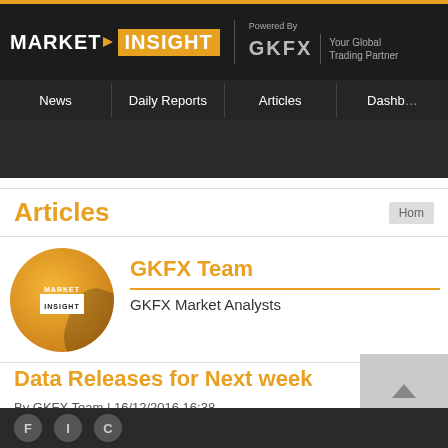MARKET INSIGHT — Powered By GKFX Your Global Trading Partner
[Figure (logo): Market Insight logo with orange insight box and GKFX branding]
News | Daily Reports | Articles | Dashboard
Articles
[Figure (logo): GKFX Market Insight circular orange logo used as author avatar]
GKFX Team
GKFX Market Analysts
Data Releases for Next week
By GKFX Team | 16/12/2016 16:38